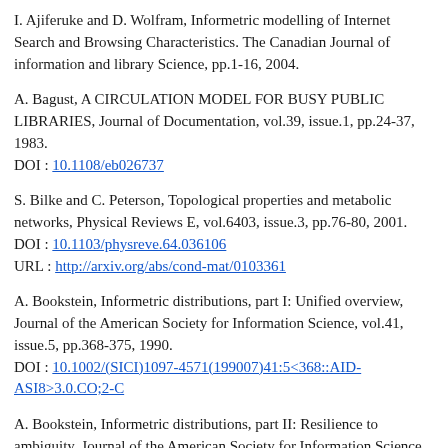I. Ajiferuke and D. Wolfram, Informetric modelling of Internet Search and Browsing Characteristics. The Canadian Journal of information and library Science, pp.1-16, 2004.
A. Bagust, A CIRCULATION MODEL FOR BUSY PUBLIC LIBRARIES, Journal of Documentation, vol.39, issue.1, pp.24-37, 1983.
DOI : 10.1108/eb026737
S. Bilke and C. Peterson, Topological properties and metabolic networks, Physical Reviews E, vol.6403, issue.3, pp.76-80, 2001.
DOI : 10.1103/physreve.64.036106
URL : http://arxiv.org/abs/cond-mat/0103361
A. Bookstein, Informetric distributions, part I: Unified overview, Journal of the American Society for Information Science, vol.41, issue.5, pp.368-375, 1990.
DOI : 10.1002/(SICI)1097-4571(199007)41:5<368::AID-ASI8>3.0.CO;2-C
A. Bookstein, Informetric distributions, part II: Resilience to ambiguity, Journal of the American Society for Information Science, vol.41, issue.5, pp.376-385, 1990.
DOI : 10.1002/(SICI)1097-4571(199007)41:5<376::AID-ASI9>3.0.CO;2-E